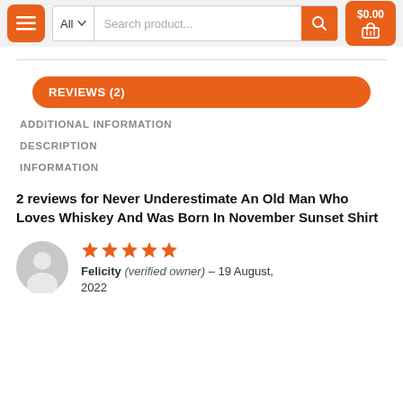[Figure (screenshot): E-commerce navigation bar with orange menu button, search bar with All dropdown and search product placeholder, and orange cart button showing $0.00]
REVIEWS (2)
ADDITIONAL INFORMATION
DESCRIPTION
INFORMATION
2 reviews for Never Underestimate An Old Man Who Loves Whiskey And Was Born In November Sunset Shirt
Felicity (verified owner) – 19 August, 2022